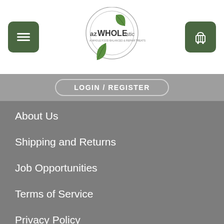[Figure (logo): azWHOLEistic logo with two green leaves and circular lines]
LOGIN / REGISTER
About Us
Shipping and Returns
Job Opportunities
Terms of Service
Privacy Policy
Contact Us
Self Healing